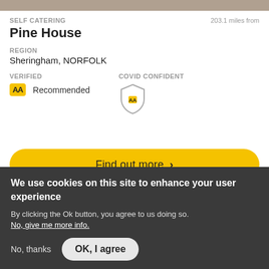[Figure (photo): Top strip showing partial photo of Pine House property exterior]
SELF CATERING
203.1 miles from
Pine House
REGION
Sheringham, NORFOLK
VERIFIED
COVID CONFIDENT
[Figure (logo): AA Recommended badge - yellow background with AA logo and Recommended text]
[Figure (logo): Covid Confident shield badge with AA logo]
Find out more >
We use cookies on this site to enhance your user experience
By clicking the Ok button, you agree to us doing so.
No, give me more info.
No, thanks
OK, I agree